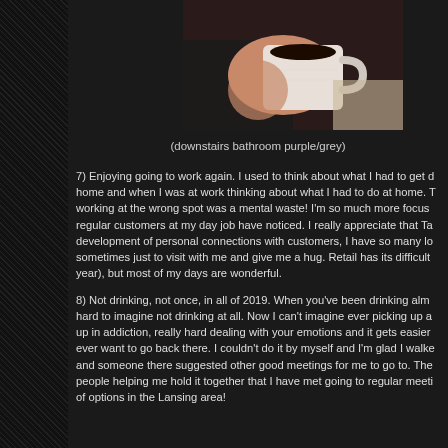[Figure (photo): Person holding a white ceramic mug with black coffee, wearing a black top. Kitchen counter visible in background.]
(downstairs bathroom purple/grey)
7) Enjoying going to work again.  I used to think about what I had to get done at home and when I was at work thinking about what I had to do at home.  That working at the wrong spot was a mental waste!  I'm so much more focused and regular customers at my day job have noticed.  I really appreciate that Target's development of personal connections with customers, I have so many loyal guests sometimes just to visit with me and give me a hug. Retail has its difficult days (this year), but most of my days are wonderful.
8) Not drinking, not once, in all of 2019.  When you've been drinking almost daily, its hard to imagine not drinking at all.  Now I can't imagine ever picking up again.  Growing up in addiction, really hard dealing with your emotions and it gets easier but I never ever want to go back there. I couldn't do it by myself and I'm glad I walked into a meeting and someone there suggested other good meetings for me to go to.  There are amazing people helping me hold it together that I have met going to regular meetings.  Plenty of options in the Lansing area!